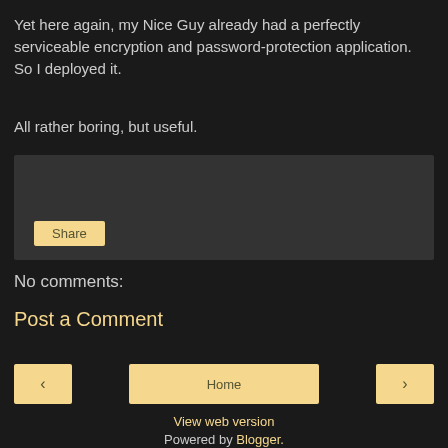Yet here again, my Nice Guy already had a perfectly serviceable encryption and password-protection application. So I deployed it.
All rather boring, but useful.
[Figure (screenshot): A dark gray comment/share widget box with a Share button in the lower left]
No comments:
Post a Comment
[Figure (screenshot): Navigation row with left arrow button, Home button, and right arrow button]
View web version
Powered by Blogger.